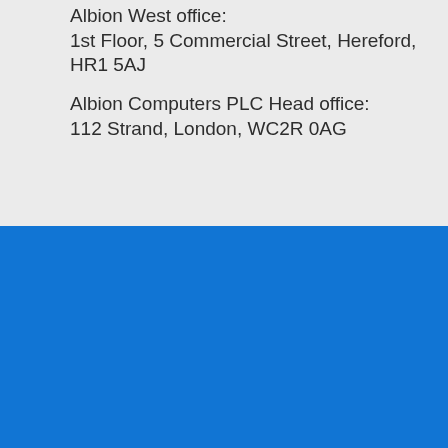Albion West office:
1st Floor, 5 Commercial Street, Hereford, HR1 5AJ

Albion Computers PLC Head office:
112 Strand, London, WC2R 0AG
We use cookies to optimise our website and our service.  Cookie Policy
Accept cookies